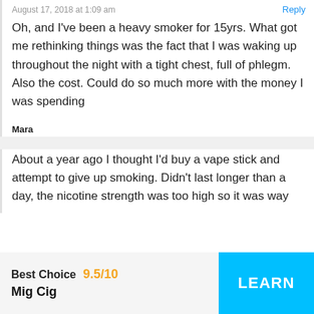August 17, 2018 at 1:09 am
Reply
Oh, and I've been a heavy smoker for 15yrs. What got me rethinking things was the fact that I was waking up throughout the night with a tight chest, full of phlegm. Also the cost. Could do so much more with the money I was spending
Mara
August 17, 2018 at 1:01 am
Reply
About a year ago I thought I'd buy a vape stick and attempt to give up smoking. Didn't last longer than a day, the nicotine strength was too high so it was way
Best Choice   9.5/10
Mig Cig
LEARN